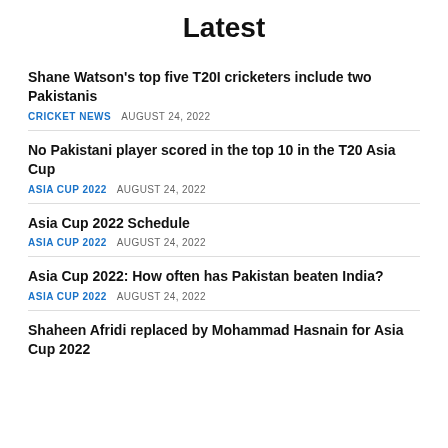Latest
Shane Watson's top five T20I cricketers include two Pakistanis
CRICKET NEWS   AUGUST 24, 2022
No Pakistani player scored in the top 10 in the T20 Asia Cup
ASIA CUP 2022   AUGUST 24, 2022
Asia Cup 2022 Schedule
ASIA CUP 2022   AUGUST 24, 2022
Asia Cup 2022: How often has Pakistan beaten India?
ASIA CUP 2022   AUGUST 24, 2022
Shaheen Afridi replaced by Mohammad Hasnain for Asia Cup 2022